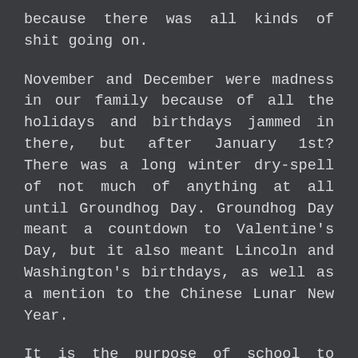because there was all kinds of shit going on.
November and December were madness in our family because of all the holidays and birthdays jammed in there, but after January 1st? There was a long winter dry-spell of not much of anything at all until Groundhog Day. Groundhog Day meant a countdown to Valentine's Day, but it also meant Lincoln and Washington's birthdays, as well as a mention to the Chinese Lunar New Year.
It is the purpose of school to teach. To omit and streamline is to limit. To create limits in schools is to teach limits. To teach limits is to test limits and limitations. To test limits and limitations is to filter. To get the cream to rise, which then itself can then be separated.